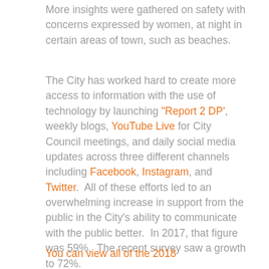More insights were gathered on safety with concerns expressed by women, at night in certain areas of town, such as beaches.
The City has worked hard to create more access to information with the use of technology by launching "Report 2 DP'", weekly blogs, YouTube Live for City Council meetings, and daily social media updates across three different channels including Facebook, Instagram, and Twitter.  All of these efforts led to an overwhelming increase in support from the public in the City's ability to communicate with the public better.  In 2017, that figure was 59%.  The recent survey saw a growth to 72%.
You can view all of the 2018